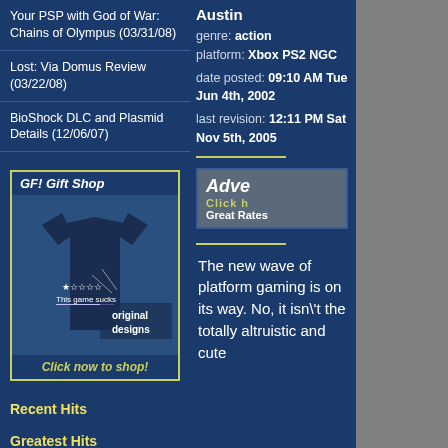Your PSP with God of War: Chains of Olympus (03/31/08)
Lost: Via Domus Review (03/22/08)
BioShock DLC and Plasmid Details (12/06/07)
[Figure (illustration): GF! Gift Shop promotional box with navy t-shirt image showing star rating and 'This game sucks' text, with 'original designs' overlay text. Yellow border. Click now to shop! footer.]
Recent Hits
Greatest Hits
Austin
genre: action
platform: Xbox PS2 NGC
date posted: 09:10 AM Tue Jun 4th, 2002
last revision: 12:11 PM Sat Nov 5th, 2005
[Figure (screenshot): Partial advertisement banner showing 'Adve' text (truncated) with 'Click h' and 'Great Rates' text on dark background]
The new wave of platform gaming is on its way. No, it isn't the totally altruistic and cute